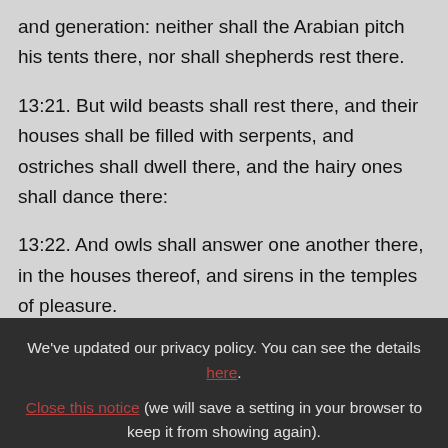and generation: neither shall the Arabian pitch his tents there, nor shall shepherds rest there.
13:21. But wild beasts shall rest there, and their houses shall be filled with serpents, and ostriches shall dwell there, and the hairy ones shall dance there:
13:22. And owls shall answer one another there, in the houses thereof, and sirens in the temples of pleasure.
We've updated our privacy policy. You can see the details here. Close this notice (we will save a setting in your browser to keep it from showing again).